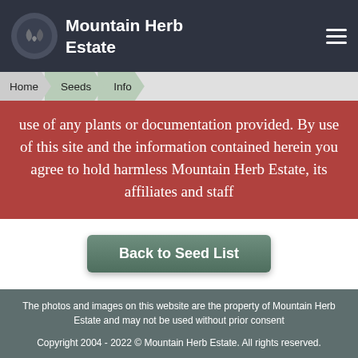Mountain Herb Estate
Home  Seeds  Info
use of any plants or documentation provided. By use of this site and the information contained herein you agree to hold harmless Mountain Herb Estate, its affiliates and staff
Back to Seed List
The photos and images on this website are the property of Mountain Herb Estate and may not be used without prior consent

Copyright 2004 - 2022 © Mountain Herb Estate. All rights reserved.